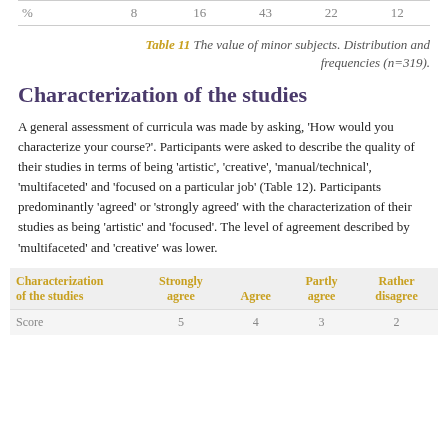| % | 8 | 16 | 43 | 22 | 12 |
| --- | --- | --- | --- | --- | --- |
Table 11 The value of minor subjects. Distribution and frequencies (n=319).
Characterization of the studies
A general assessment of curricula was made by asking, 'How would you characterize your course?'. Participants were asked to describe the quality of their studies in terms of being 'artistic', 'creative', 'manual/technical', 'multifaceted' and 'focused on a particular job' (Table 12). Participants predominantly 'agreed' or 'strongly agreed' with the characterization of their studies as being 'artistic' and 'focused'. The level of agreement described by 'multifaceted' and 'creative' was lower.
| Characterization of the studies | Strongly agree | Agree | Partly agree | Rather disagree |
| --- | --- | --- | --- | --- |
| Score | 5 | 4 | 3 | 2 |